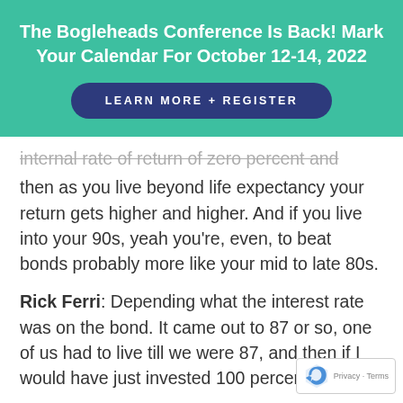The Bogleheads Conference Is Back! Mark Your Calendar For October 12-14, 2022
LEARN MORE + REGISTER
internal rate of return of zero percent and
then as you live beyond life expectancy your return gets higher and higher. And if you live into your 90s, yeah you're, even, to beat bonds probably more like your mid to late 80s.
Rick Ferri: Depending what the interest rate was on the bond. It came out to 87 or so, one of us had to live till we were 87, and then if I would have just invested 100 percent in the